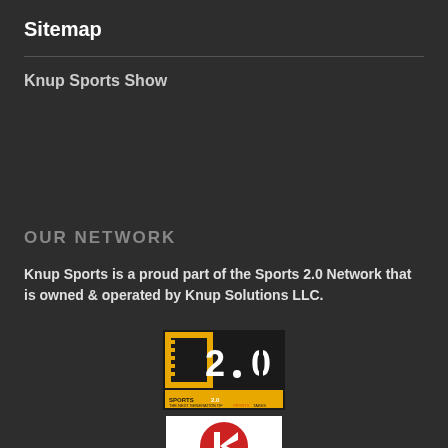Sitemap
Knup Sports Show
OUR NETWORK
Knup Sports is a proud part of the Sports 2.0 Network that is owned & operated by Knup Solutions LLC.
[Figure (logo): Sports 2.0 logo - black and yellow square logo with '2.0' text and 'SPORTS 2.0 THE NEXT GENERATION OF SPORTS TAKES' text]
[Figure (logo): Knup Solutions logo - white background with red K icon]